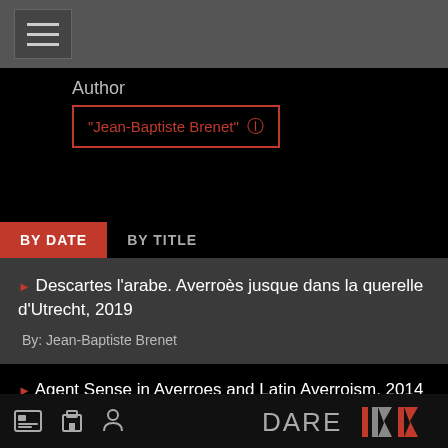[Figure (screenshot): Navigation hamburger menu icon in grey bar]
Author
"Jean-Baptiste Brenet" ✕
BY DATE
BY TITLE
Descartes l'arabe. Averroès jusque dans la querelle d'Utrecht, 2019
By: Jean-Baptiste Brenet
Agent Sense in Averroes and Latin Averroism, 2014
By: Jean-Baptiste Brenet
[Figure (logo): DARE logo with stylized K symbol in orange and grey]